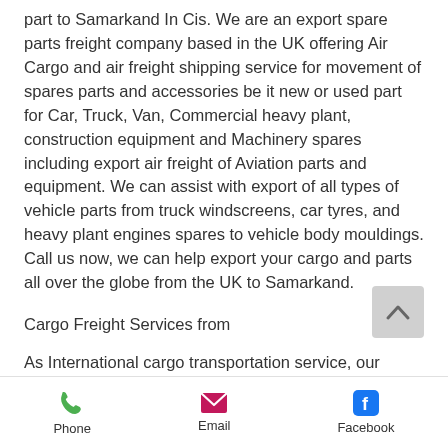part to Samarkand In Cis. We are an export spare parts freight company based in the UK offering Air Cargo and air freight shipping service for movement of spares parts and accessories be it new or used part for Car, Truck, Van, Commercial heavy plant, construction equipment and Machinery spares including export air freight of Aviation parts and equipment. We can assist with export of all types of vehicle parts from truck windscreens, car tyres, and heavy plant engines spares to vehicle body mouldings. Call us now, we can help export your cargo and parts all over the globe from the UK to Samarkand.
Cargo Freight Services from
As International cargo transportation service, our cargo and air freight shipping services are available to all from the Great
[Figure (other): Scroll-to-top button with upward chevron arrow on light grey background]
Phone  Email  Facebook